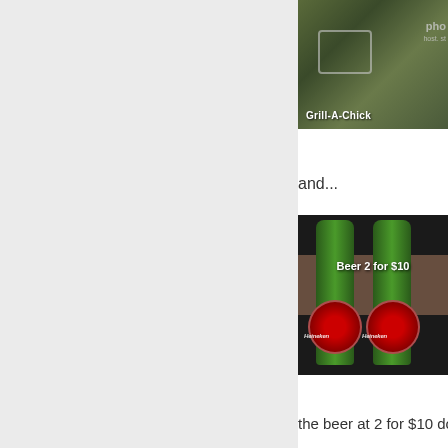[Figure (photo): Photo of a grilled food dish on a plate with text overlay 'Grill-A-Chick' and a photo hosting watermark]
and...
[Figure (photo): Photo of two Heineken beer bottles with text overlay 'Beer 2 for $10']
the beer at 2 for $10 do